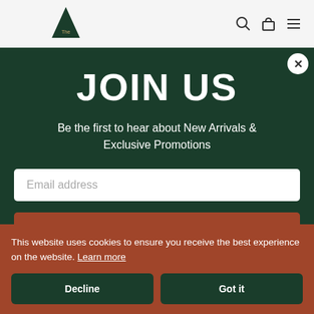The [logo] — navigation icons (search, bag, menu)
JOIN US
Be the first to hear about New Arrivals & Exclusive Promotions
Email address
SIGN UP
This website uses cookies to ensure you receive the best experience on the website. Learn more
Decline
Got it
English